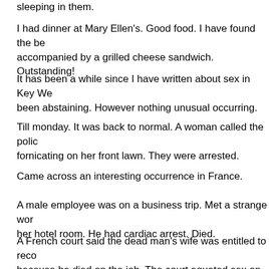sleeping in them.
I had dinner at Mary Ellen's. Good food. I have found the be accompanied by a grilled cheese sandwich. Outstanding!
It has been a while since I have written about sex in Key We been abstaining. However nothing unusual occurring.
Till monday. It was back to normal. A woman called the polic fornicating on her front lawn. They were arrested.
Came across an interesting occurrence in France.
A male employee was on a business trip. Met a strange wor her hotel room. He had cardiac arrest. Died.
A French court said the dead man's wife was entitled to reco because he died on the job. The court equated sex on a bus or eating a meal."